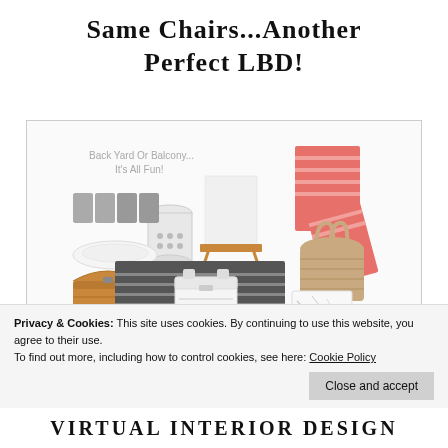Same Chairs...Another Perfect LBD!
[Figure (illustration): Interior design mood board titled 'Back Yard Or Balcony... It's All Fun!' showing outdoor furniture and accessories including a folding chair, ceramic garden stool, striped outdoor rug, coral/red striped towels, woven tote bag, picnic basket, tumblers, serving platter, white cooler, and marble items. Website watermark: littleblackdomicile.com]
Privacy & Cookies: This site uses cookies. By continuing to use this website, you agree to their use.
To find out more, including how to control cookies, see here: Cookie Policy
Close and accept
VIRTUAL INTERIOR DESIGN